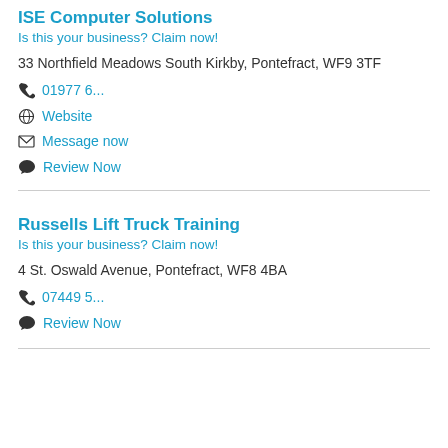ISE Computer Solutions
Is this your business? Claim now!
33 Northfield Meadows South Kirkby, Pontefract, WF9 3TF
01977 6...
Website
Message now
Review Now
Russells Lift Truck Training
Is this your business? Claim now!
4 St. Oswald Avenue, Pontefract, WF8 4BA
07449 5...
Review Now